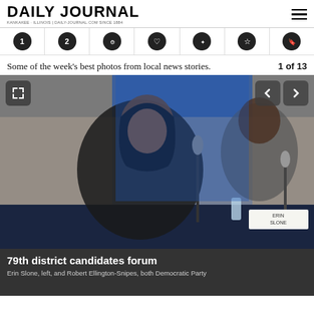DAILY JOURNAL
[Figure (photo): Navigation icon row with 7 circular dark icons]
Some of the week's best photos from local news stories.
1 of 13
[Figure (photo): Two candidates seated at a table with microphones at a forum event. A woman in a black jacket speaks into a microphone on the left; a man in a suit and tie sits on the right. A blue banner is visible in the background. A name placard reads 'ERIN SLONE' on the table.]
79th district candidates forum
Erin Slone, left, and Robert Ellington-Snipes, both Democratic Party